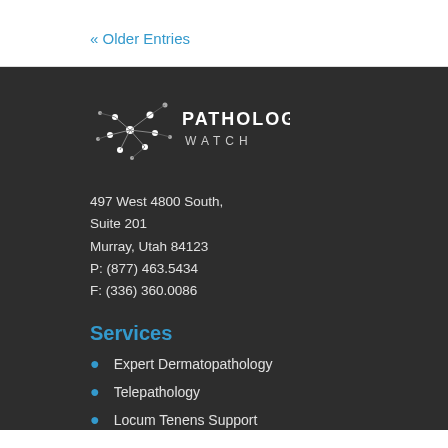« Older Entries
[Figure (logo): Pathology Watch logo with stylized molecule/network icon and text 'PATHOLOGY WATCH']
497 West 4800 South,
Suite 201
Murray, Utah 84123
P: (877) 463.5434
F: (336) 360.0086
Services
Expert Dermatopathology
Telepathology
Locum Tenens Support